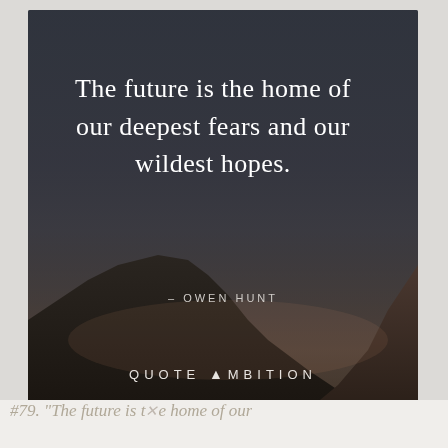[Figure (photo): A quote card image with a dark twilight sky and mountain silhouette background. Contains a white serif quote text and attribution, with QUOTE AMBITION logo at bottom.]
The future is the home of our deepest fears and our wildest hopes.
– OWEN HUNT
QUOTE AMBITION
«The future is the home of our...